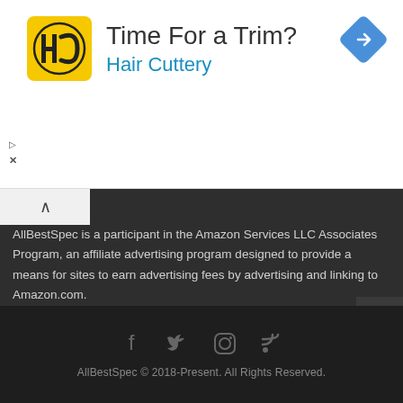[Figure (screenshot): Advertisement banner for Hair Cuttery with logo, text 'Time For a Trim?' and 'Hair Cuttery', and a blue navigation arrow icon on the right.]
AllBestSpec is a participant in the Amazon Services LLC Associates Program, an affiliate advertising program designed to provide a means for sites to earn advertising fees by advertising and linking to Amazon.com.
Contact us: allbestspec@gmail.com
[Figure (infographic): Social media icons: Facebook, Twitter, Instagram, RSS feed]
AllBestSpec © 2018-Present. All Rights Reserved.